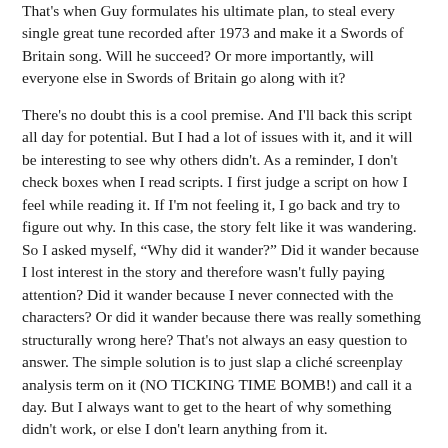That's when Guy formulates his ultimate plan, to steal every single great tune recorded after 1973 and make it a Swords of Britain song. Will he succeed? Or more importantly, will everyone else in Swords of Britain go along with it?
There's no doubt this is a cool premise. And I'll back this script all day for potential. But I had a lot of issues with it, and it will be interesting to see why others didn't. As a reminder, I don't check boxes when I read scripts. I first judge a script on how I feel while reading it. If I'm not feeling it, I go back and try to figure out why. In this case, the story felt like it was wandering. So I asked myself, “Why did it wander?” Did it wander because I lost interest in the story and therefore wasn't fully paying attention? Did it wander because I never connected with the characters? Or did it wander because there was really something structurally wrong here? That's not always an easy question to answer. The simple solution is to just slap a cliché screenplay analysis term on it (NO TICKING TIME BOMB!) and call it a day. But I always want to get to the heart of why something didn't work, or else I don't learn anything from it.
My first problem with Tribute? There was nothing FOR ME